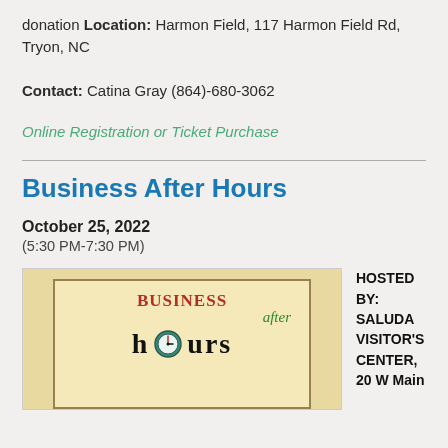donation Location: Harmon Field, 117 Harmon Field Rd, Tryon, NC
Contact: Catina Gray (864)-680-3062
Online Registration or Ticket Purchase
Business After Hours
October 25, 2022
(5:30 PM-7:30 PM)
[Figure (logo): Business After Hours event logo on a tan/papyrus background with a clock illustration, text reads BUSINESS after hours]
HOSTED BY: SALUDA VISITOR'S CENTER, 20 W Main